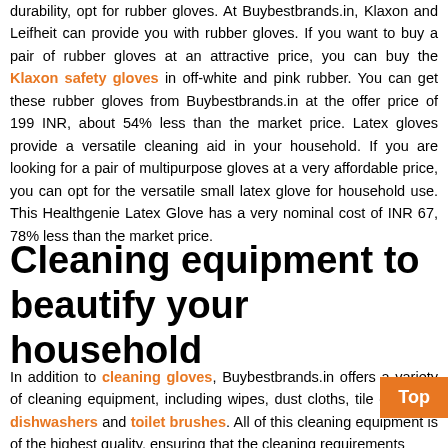durability, opt for rubber gloves. At Buybestbrands.in, Klaxon and Leifheit can provide you with rubber gloves. If you want to buy a pair of rubber gloves at an attractive price, you can buy the Klaxon safety gloves in off-white and pink rubber. You can get these rubber gloves from Buybestbrands.in at the offer price of 199 INR, about 54% less than the market price. Latex gloves provide a versatile cleaning aid in your household. If you are looking for a pair of multipurpose gloves at a very affordable price, you can opt for the versatile small latex glove for household use. This Healthgenie Latex Glove has a very nominal cost of INR 67, 78% less than the market price.
Cleaning equipment to beautify your household
In addition to cleaning gloves, Buybestbrands.in offers a variety of cleaning equipment, including wipes, dust cloths, tile cleaners, dishwashers and toilet brushes. All of this cleaning equipment is of the highest quality, ensuring that the cleaning requirements